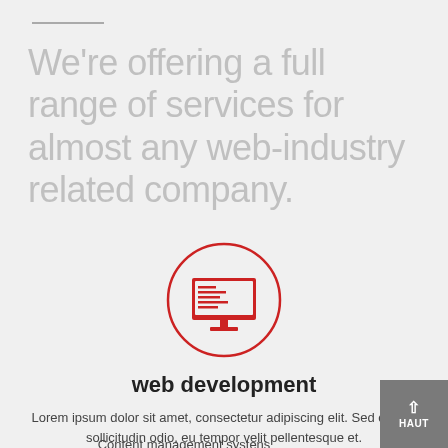We're offering a full range of services for almost any web-industry related company.
[Figure (illustration): Red circle outline with a red computer monitor icon showing code lines on screen inside]
web development
Lorem ipsum dolor sit amet, consectetur adipiscing elit. Sed cursus sollicitudin odio, eu tempor velit pellentesque et.
Content management systens